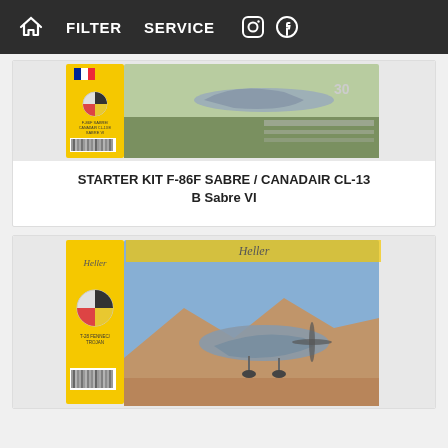Home  FILTER  SERVICE  Instagram  Facebook
[Figure (photo): Heller model kit box for STARTER KIT F-86F SABRE / CANADAIR CL-13 B Sabre VI, yellow box with French flag and aircraft image]
STARTER KIT F-86F SABRE / CANADAIR CL-13 B Sabre VI
[Figure (photo): Heller model kit box for T-28 FENNEC / TROJAN, yellow Heller-branded box showing a propeller aircraft on a desert airfield background]